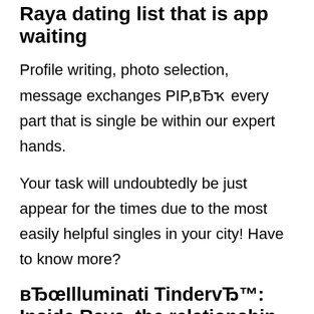Raya dating list that is app waiting
Profile writing, photo selection, message exchanges PIP,вЂҡ every part that is single be within our expert hands.
Your task will undoubtedly be just appear for the times due to the most easily helpful singles in your city! Have to know more?
вЂœIlluminati TindervЂ™: Inside Raya, the relationship that is exclusive where celebs find love
Celebrity recommendations are effective